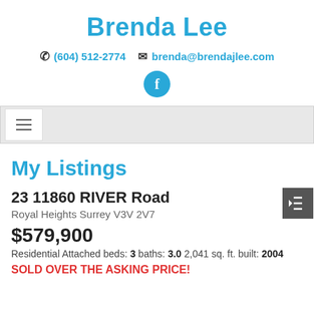Brenda Lee
☎ (604) 512-2774  ✉ brenda@brendajlee.com
[Figure (other): Facebook social media icon button (blue circle with white 'f')]
[Figure (other): Navigation bar with hamburger menu button and sidebar toggle button]
My Listings
23 11860 RIVER Road
Royal Heights Surrey V3V 2V7
$579,900
Residential Attached beds: 3 baths: 3.0 2,041 sq. ft. built: 2004
SOLD OVER THE ASKING PRICE!